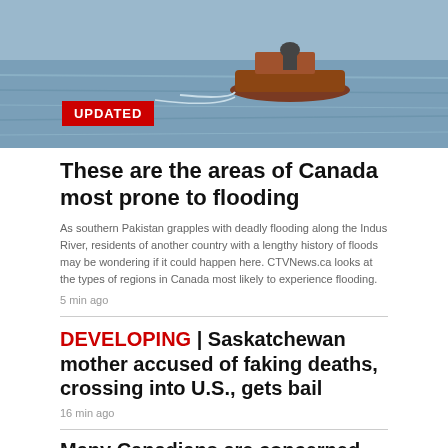[Figure (photo): A boat on flood water, photographed from above, seen in the upper portion of the page]
UPDATED
These are the areas of Canada most prone to flooding
As southern Pakistan grapples with deadly flooding along the Indus River, residents of another country with a lengthy history of floods may be wondering if it could happen here. CTVNews.ca looks at the types of regions in Canada most likely to experience flooding.
5 min ago
DEVELOPING | Saskatchewan mother accused of faking deaths, crossing into U.S., gets bail
16 min ago
Many Canadians are concerned about rising